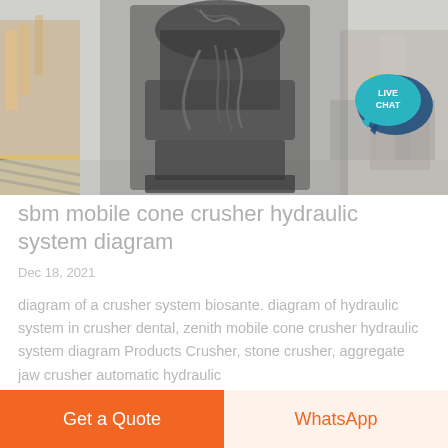[Figure (photo): Industrial cone crusher machine on a factory floor, photographed head-on. The machine has visible hydraulic hoses and cables. Background shows a colorful city street environment blurred out. A live chat speech bubble icon appears in the upper right corner.]
sbm mobile cone crusher hydraulic system diagram
Dec 18, 2021
diagram of a crusher system biosante. diagram of hydraulic system in crusher dental, zenith mobile cone crusher hydraulic system diagram Products Crusher, stone crusher, aggregate jaw crusher automatic hydraulic